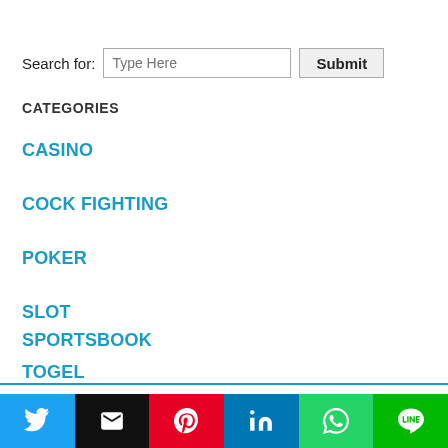Search for: [Type Here] [Submit]
CATEGORIES
CASINO
COCK FIGHTING
POKER
SLOT
SPORTSBOOK
TOGEL
This website uses cookies. Accept
[Figure (other): Social sharing buttons: Twitter, Email, Pinterest, LinkedIn, WhatsApp, LINE]